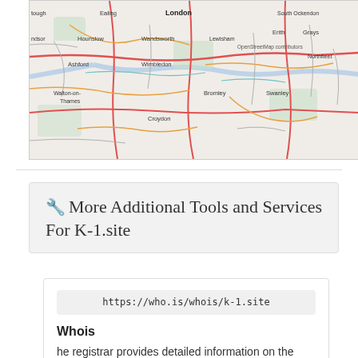[Figure (map): Street map of London and surrounding areas including Tough, Ealing, South Ockendon, ndsor, Hounslow, Wandsworth, Lewisham, Erith, Grays, Ashford, Wimbledon, Northfleet, Walton-on-Thames, Bromley, Swanley, Croydon. OpenStreetMap contributors attribution visible.]
🔧 More Additional Tools and Services For K-1.site
https://who.is/whois/k-1.site
Whois
he registrar provides detailed information on the server and the owner of k-1.site. Details are from the Who.is Lookup Service